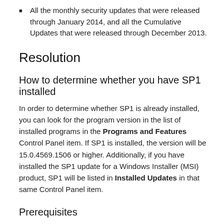All the monthly security updates that were released through January 2014, and all the Cumulative Updates that were released through December 2013.
Resolution
How to determine whether you have SP1 installed
In order to determine whether SP1 is already installed, you can look for the program version in the list of installed programs in the Programs and Features Control Panel item. If SP1 is installed, the version will be 15.0.4569.1506 or higher. Additionally, if you have installed the SP1 update for a Windows Installer (MSI) product, SP1 will be listed in Installed Updates in that same Control Panel item.
Prerequisites
There are no prerequisites for installing this update.